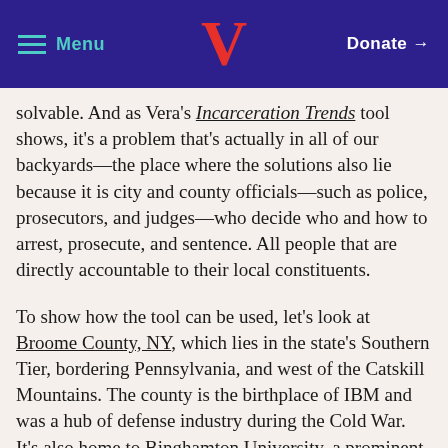Menu | V | Donate →
solvable. And as Vera's Incarceration Trends tool shows, it's a problem that's actually in all of our backyards—the place where the solutions also lie because it is city and county officials—such as police, prosecutors, and judges—who decide who and how to arrest, prosecute, and sentence. All people that are directly accountable to their local constituents.
To show how the tool can be used, let's look at Broome County, NY, which lies in the state's Southern Tier, bordering Pennsylvania, and west of the Catskill Mountains. The county is the birthplace of IBM and was a hub of defense industry during the Cold War. It's also home to Binghamton University, a prominent state university that is now at the center of the region's economic and cultural life in the wake of the